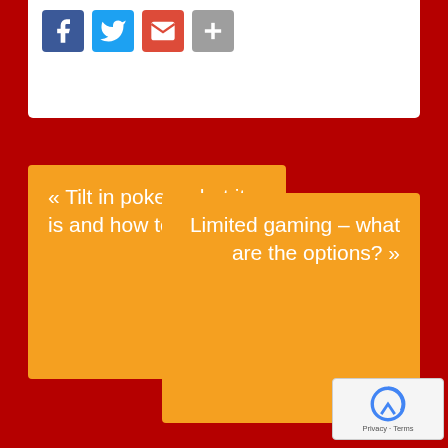[Figure (other): Social sharing icons: Facebook (blue), Twitter (blue), Mail (red/orange), Share (grey plus)]
« Tilt in poker: what it is and how to avoid it
Limited gaming – what are the options? »
RELATED POSTS
Review of the game Big Bounty Bill slot